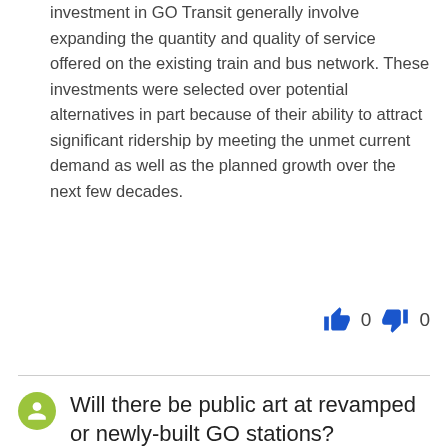investment in GO Transit generally involve expanding the quantity and quality of service offered on the existing train and bus network. These investments were selected over potential alternatives in part because of their ability to attract significant ridership by meeting the unmet current demand as well as the planned growth over the next few decades.
👍 0  👎 0
Will there be public art at revamped or newly-built GO stations?
Anonymous
Apr 24, 2018 - 12:48